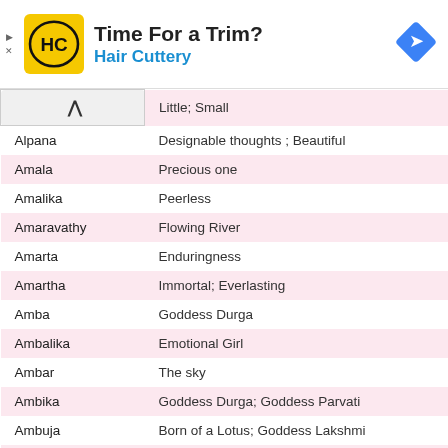[Figure (logo): Hair Cuttery advertisement banner with HC logo, 'Time For a Trim?' headline and 'Hair Cuttery' subheading, navigation arrow icon]
| Name | Meaning |
| --- | --- |
| ^ | Little; Small |
| Alpana | Designable thoughts ; Beautiful |
| Amala | Precious one |
| Amalika | Peerless |
| Amaravathy | Flowing River |
| Amarta | Enduringness |
| Amartha | Immortal; Everlasting |
| Amba | Goddess Durga |
| Ambalika | Emotional Girl |
| Ambar | The sky |
| Ambika | Goddess Durga; Goddess Parvati |
| Ambuja | Born of a Lotus; Goddess Lakshmi |
| Amedhi | Numerous; Myriad; Every Glittering |
| Amidesvari | Goddess Name; Prosperous; Flourishing |
| Amirthakala | Delightfulness As Art |